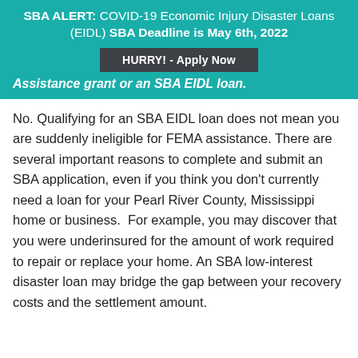SBA ALERT: COVID-19 Economic Injury Disaster Loans (EIDL) SBA Deadline is May 6th, 2022
HURRY! - Apply Now
Assistance grant or an SBA EIDL loan.
No. Qualifying for an SBA EIDL loan does not mean you are suddenly ineligible for FEMA assistance. There are several important reasons to complete and submit an SBA application, even if you think you don't currently need a loan for your Pearl River County, Mississippi home or business.  For example, you may discover that you were underinsured for the amount of work required to repair or replace your home. An SBA low-interest disaster loan may bridge the gap between your recovery costs and the settlement amount.